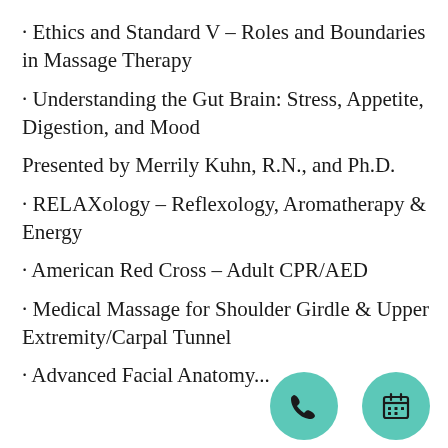· Ethics and Standard V – Roles and Boundaries in Massage Therapy
· Understanding the Gut Brain: Stress, Appetite, Digestion, and Mood
Presented by Merrily Kuhn, R.N., and Ph.D.
· RELAXology – Reflexology, Aromatherapy & Energy
· American Red Cross – Adult CPR/AED
· Medical Massage for Shoulder Girdle & Upper Extremity/Carpal Tunnel
· Advanced Facial Anatomy...